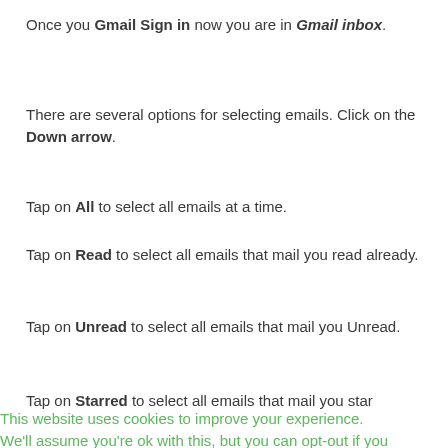Once you Gmail Sign in now you are in Gmail inbox.
There are several options for selecting emails. Click on the Down arrow.
Tap on All to select all emails at a time.
Tap on Read to select all emails that mail you read already.
Tap on Unread to select all emails that mail you Unread.
Tap on Starred to select all emails that mail you star
This website uses cookies to improve your experience. We'll assume you're ok with this, but you can opt-out if you wish.    Cookie settings    ACCEPT